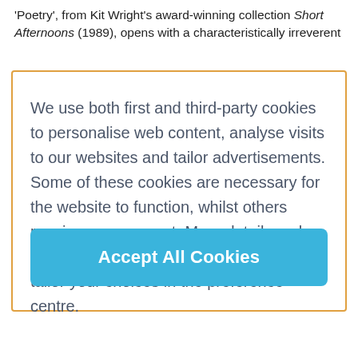'Poetry', from Kit Wright's award-winning collection Short Afternoons (1989), opens with a characteristically irreverent
We use both first and third-party cookies to personalise web content, analyse visits to our websites and tailor advertisements. Some of these cookies are necessary for the website to function, whilst others require your consent. More detail can be found in our cookie policy and you can tailor your choices in the preference centre.
Accept All Cookies